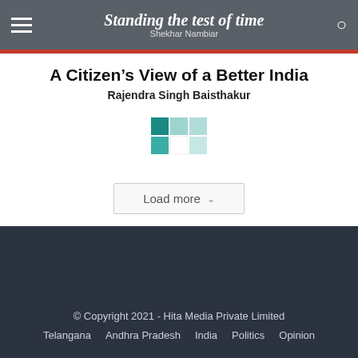Standing the test of time
Shekhar Nambiar
A Citizen’s View of a Better India
Rajendra Singh Baisthakur
[Figure (other): Animated loading spinner made of teal and light teal squares in a grid pattern]
Load more
© Copyright 2021 - Hita Media Private Limited
Telangana   Andhra Pradesh   India   Politics   Opinion